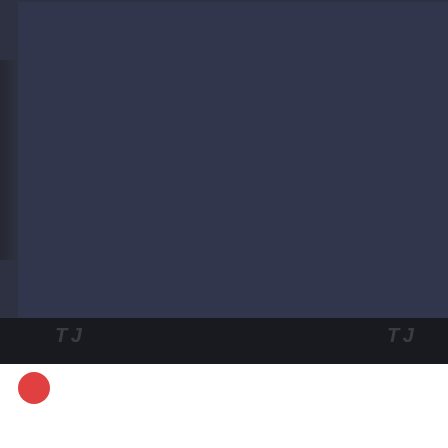[Figure (screenshot): Dark blue-grey panel representing a video thumbnail or content area in a web interface, mostly empty/dark]
1 day ago - PlayWarframe
[Figure (screenshot): Dark strip divider with faint watermark text, followed by a white content area below with a partially visible card element]